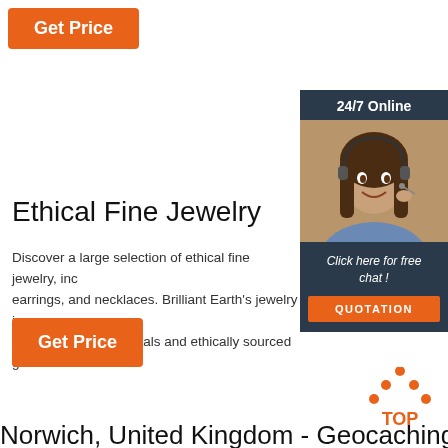Get Price
[Figure (illustration): 24/7 Online chat widget with photo of woman wearing headset, 'Click here for free chat!' text, and QUOTATION button]
Ethical Fine Jewelry
Discover a large selection of ethical fine jewelry, inc earrings, and necklaces. Brilliant Earth's jewelry is recycled precious metals and ethically sourced gem
Get Price
[Figure (illustration): TOP scroll-to-top icon with orange dots forming an upward arrow above the word TOP in orange]
Norwich, United Kingdom - Geocaching